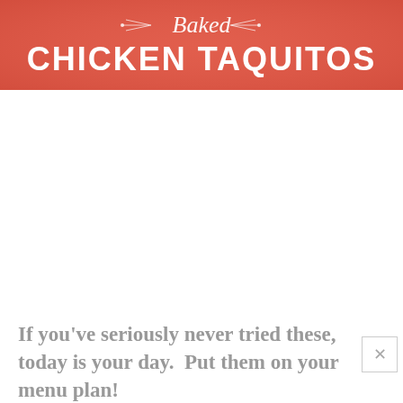[Figure (illustration): Red/coral colored banner image with decorative starburst design and white text reading 'Baked CHICKEN TAQUITOS']
If you've seriously never tried these, today is your day. Put them on your menu plan!